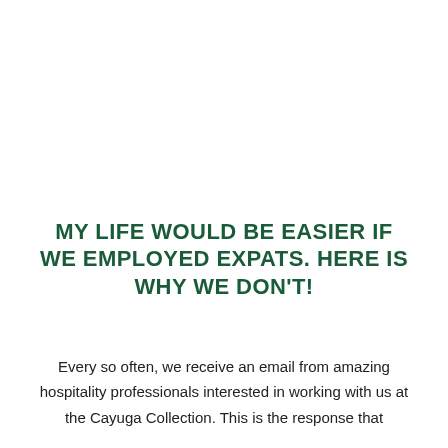MY LIFE WOULD BE EASIER IF WE EMPLOYED EXPATS. HERE IS WHY WE DON'T!
Every so often, we receive an email from amazing hospitality professionals interested in working with us at the Cayuga Collection. This is the response that